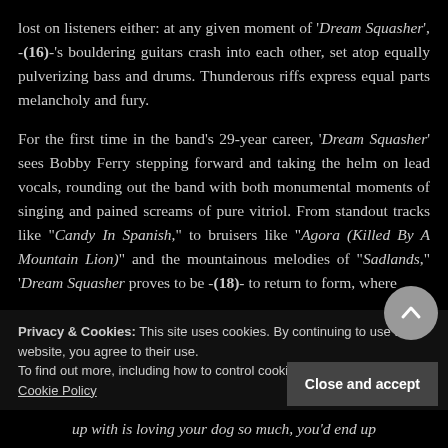lost on listeners either: at any given moment of 'Dream Squasher', -(16)-'s bouldering guitars crash into each other, set atop equally pulverizing bass and drums. Thunderous riffs express equal parts melancholy and fury.
For the first time in the band's 29-year career, 'Dream Squasher' sees Bobby Ferry stepping forward and taking the helm on lead vocals, rounding out the band with both monumental moments of singing and pained screams of pure vitriol. From standout tracks like "Candy In Spanish," to bruisers like "Agora (Killed By A Mountain Lion)" and the mountainous melodies of "Sadlands", 'Dream Squasher proves to be -(18)- to return to form, where
Privacy & Cookies: This site uses cookies. By continuing to use this website, you agree to their use.
To find out more, including how to control cookies, see here:
Cookie Policy
Close and accept
up with is loving your dog so much, you'd end up